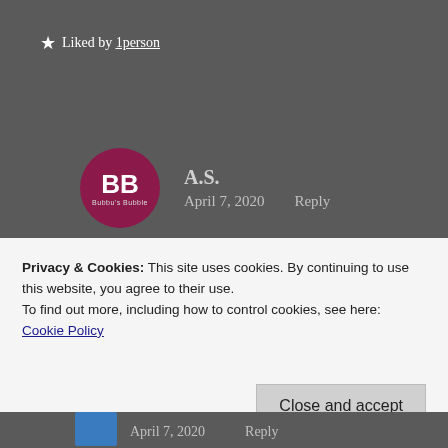★ Liked by 1person
A.S.
April 7, 2020   Reply
Thank you, Jude!! I am glad that you enjoyed it. 🙂 Me too.
Privacy & Cookies: This site uses cookies. By continuing to use this website, you agree to their use.
To find out more, including how to control cookies, see here: Cookie Policy
Close and accept
April 7, 2020   Reply